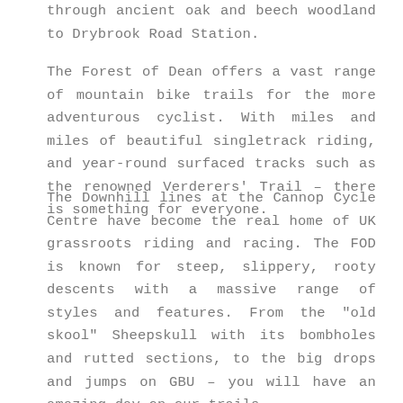through ancient oak and beech woodland to Drybrook Road Station.
The Forest of Dean offers a vast range of mountain bike trails for the more adventurous cyclist. With miles and miles of beautiful singletrack riding, and year-round surfaced tracks such as the renowned Verderers' Trail – there is something for everyone.
The Downhill lines at the Cannop Cycle Centre have become the real home of UK grassroots riding and racing. The FOD is known for steep, slippery, rooty descents with a massive range of styles and features. From the "old skool" Sheepskull with its bombholes and rutted sections, to the big drops and jumps on GBU – you will have an amazing day on our trails.